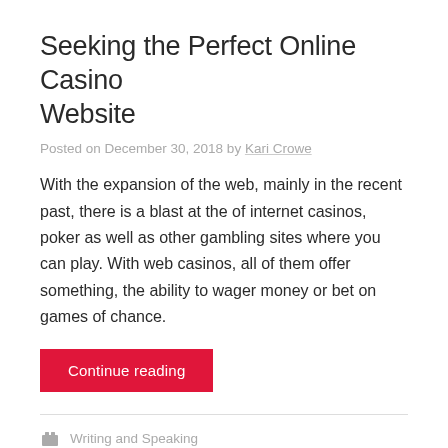Seeking the Perfect Online Casino Website
Posted on December 30, 2018 by Kari Crowe
With the expansion of the web, mainly in the recent past, there is a blast at the of internet casinos, poker as well as other gambling sites where you can play. With web casinos, all of them offer something, the ability to wager money or bet on games of chance.
Continue reading
Writing and Speaking
Leave a comment